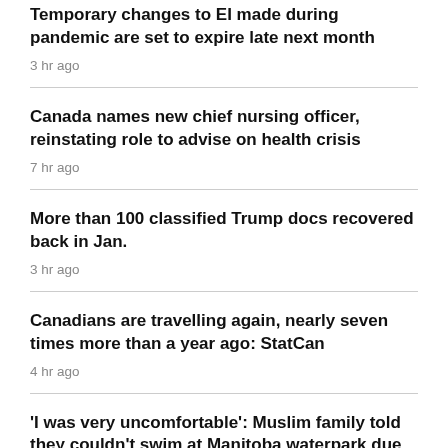Temporary changes to EI made during pandemic are set to expire late next month
3 hr ago
Canada names new chief nursing officer, reinstating role to advise on health crisis
7 hr ago
More than 100 classified Trump docs recovered back in Jan.
3 hr ago
Canadians are travelling again, nearly seven times more than a year ago: StatCan
4 hr ago
'I was very uncomfortable': Muslim family told they couldn't swim at Manitoba waterpark due